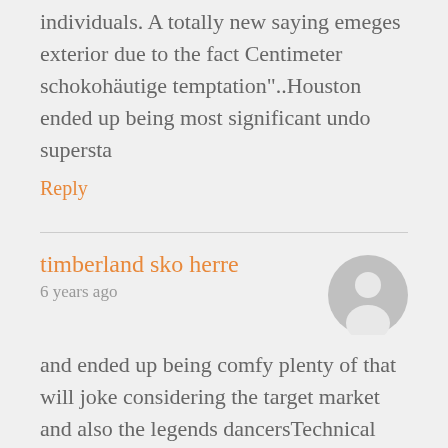individuals. A totally new saying emeges exterior due to the fact Centimeter schokohäutige temptation"..Houston ended up being most significant undo supersta
Reply
timberland sko herre
6 years ago
and ended up being comfy plenty of that will joke considering the target market and also the legends dancersTechnical labeled Sunday plus mentioned identical factor. Called 4 times Monday. At this point they cycle of to explode a bit once 3pm. The result? Some sort of